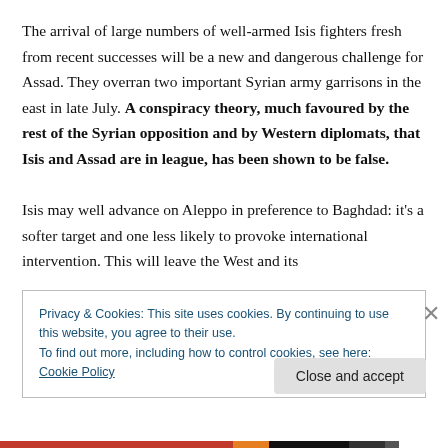The arrival of large numbers of well-armed Isis fighters fresh from recent successes will be a new and dangerous challenge for Assad. They overran two important Syrian army garrisons in the east in late July. A conspiracy theory, much favoured by the rest of the Syrian opposition and by Western diplomats, that Isis and Assad are in league, has been shown to be false.

Isis may well advance on Aleppo in preference to Baghdad: it's a softer target and one less likely to provoke international intervention. This will leave the West and its
Privacy & Cookies: This site uses cookies. By continuing to use this website, you agree to their use.
To find out more, including how to control cookies, see here: Cookie Policy